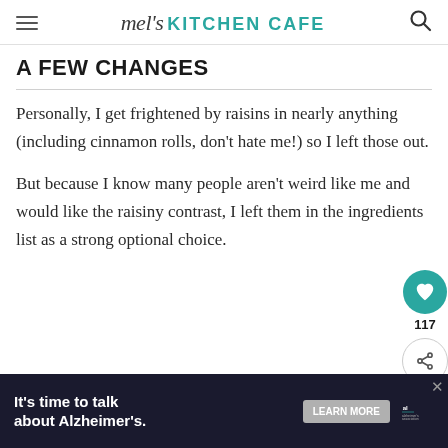mel's KITCHEN CAFE
A FEW CHANGES
Personally, I get frightened by raisins in nearly anything (including cinnamon rolls, don't hate me!) so I left those out.
But because I know many people aren't weird like me and would like the raisiny contrast, I left them in the ingredients list as a strong optional choice.
[Figure (other): Alzheimer's association advertisement banner: It's time to talk about Alzheimer's. with LEARN MORE button and alzheimer's association logo.]